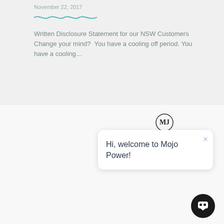November 22, 2017
Written Disclosure Statement for our NSW Customers
Change your mind?  You have a cooling off period. You have a cooling...
[Figure (screenshot): Chat widget popup showing Mojo Power logo and welcome message: Hi, welcome to Mojo Power! with a close button and chat icon button.]